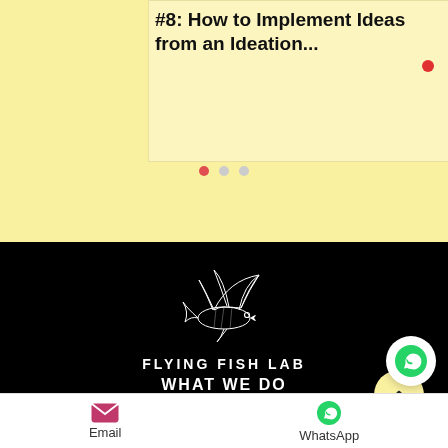#8: How to Implement Ideas from an Ideation...
[Figure (logo): Flying Fish Lab logo — white outline illustration of a flying fish above the text FLYING FISH LAB on a black background]
WHAT WE DO
CONTENT
Email   WhatsApp